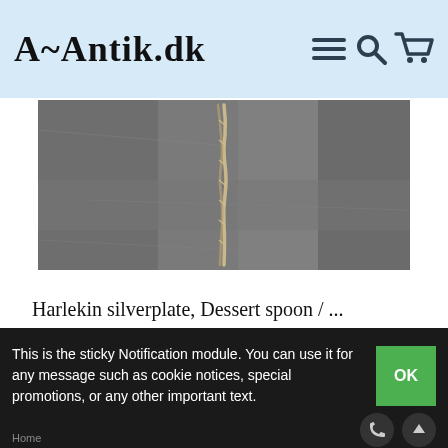A~Antik.dk
[Figure (photo): Close-up photo of a silverplate dessert spoon handle against a dark slate background, showing twisted/braided handle detail]
Harlekin silverplate, Dessert spoon / ...
Nice condition.
This is the sticky Notification module. You can use it for any message such as cookie notices, special promotions, or any other important text.